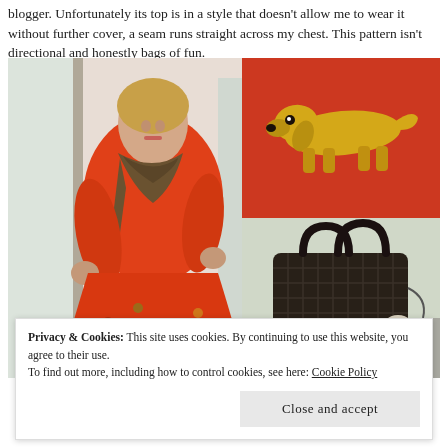blogger. Unfortunately its top is in a style that doesn't allow me to wear it without further cover, a seam runs straight across my chest. This pattern isn't directional and honestly bags of fun.
[Figure (photo): A collage of three photos: left - a woman in a red/orange cardigan, plaid scarf, and red floral skirt posing indoors near a window; top right - a golden dachshund brooch on a red/orange background; bottom right - a dark woven handbag with a fluffy pompom on a windowsill.]
Privacy & Cookies: This site uses cookies. By continuing to use this website, you agree to their use.
To find out more, including how to control cookies, see here: Cookie Policy
Close and accept